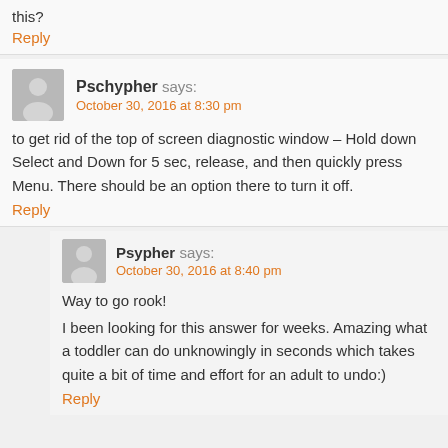this?
Reply
Pschypher says:
October 30, 2016 at 8:30 pm
to get rid of the top of screen diagnostic window – Hold down Select and Down for 5 sec, release, and then quickly press Menu. There should be an option there to turn it off.
Reply
Psypher says:
October 30, 2016 at 8:40 pm
Way to go rook!
I been looking for this answer for weeks. Amazing what a toddler can do unknowingly in seconds which takes quite a bit of time and effort for an adult to undo:)
Reply